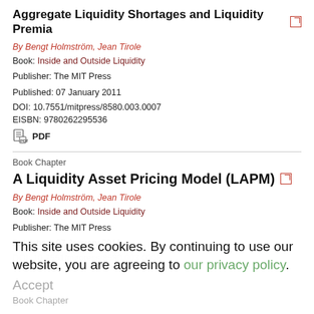Aggregate Liquidity Shortages and Liquidity Premia
By Bengt Holmström, Jean Tirole
Book: Inside and Outside Liquidity
Publisher: The MIT Press
Published: 07 January 2011
DOI: 10.7551/mitpress/8580.003.0007
EISBN: 9780262295536
PDF
Book Chapter
A Liquidity Asset Pricing Model (LAPM)
By Bengt Holmström, Jean Tirole
Book: Inside and Outside Liquidity
Publisher: The MIT Press
Published: 07 January 2011
DOI: 10.7551/mitpress/8580.003.0008
This site uses cookies. By continuing to use our website, you are agreeing to our privacy policy.
Accept
Book Chapter